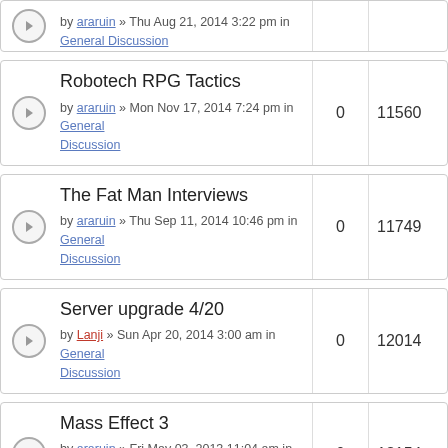by araruin » Thu Aug 21, 2014 3:22 pm in General Discussion
Robotech RPG Tactics
by araruin » Mon Nov 17, 2014 7:24 pm in General Discussion
0 replies, 11560 views
The Fat Man Interviews
by araruin » Thu Sep 11, 2014 10:46 pm in General Discussion
0 replies, 11749 views
Server upgrade 4/20
by Lanji » Sun Apr 20, 2014 3:00 am in General Discussion
0 replies, 12014 views
Mass Effect 3
by araruin » Fri May 03, 2013 11:04 am in General Discussion
0 replies, 13154 views
War Thunder
by Max_Booker » Sat Mar 02, 2013 9:09 pm in General Discussion
0 replies, 13166 views
nom nom nom!